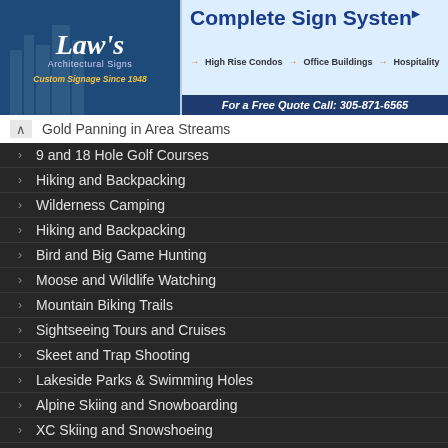[Figure (infographic): Law's Architectural Signs banner ad with logo on left (dark blue background, city skyline silhouette, 'Law's Architectural Signs', 'Custom Signage Since 1948') and Complete Sign Systems ad on right (High Rise Condos, Office Buildings, Hospitality, phone 305-871-6565)]
Gold Panning in Area Streams
9 and 18 Hole Golf Courses
Hiking and Backpacking
Wilderness Camping
Hiking and Backpacking
Bird and Big Game Hunting
Moose and Wildlife Watching
Mountain Biking Trails
Sightseeing Tours and Cruises
Skeet and Trap Shooting
Lakeside Parks & Swimming Holes
Alpine Skiing and Snowboarding
XC Skiing and Snowshoeing
Local & ITS Snowmobile Trails
RANGELEY EVENTS
4 Tips to Organize an Event Successfully
Ski Museum of Maine's John Christie Heritage Classic is set for February16th at the Sugarloaf Inn